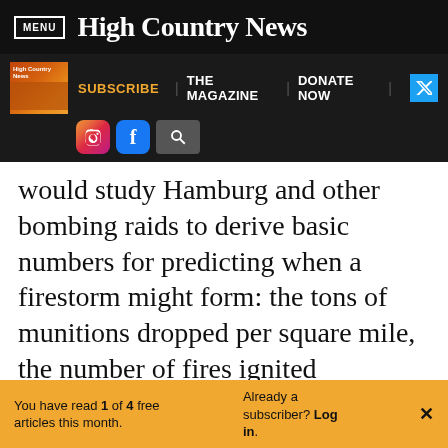MENU | High Country News
[Figure (screenshot): High Country News navigation bar with magazine thumbnail, SUBSCRIBE, THE MAGAZINE, DONATE NOW links, Twitter button, Instagram, Facebook, and search icons]
would study Hamburg and other bombing raids to derive basic numbers for predicting when a firestorm might form: the tons of munitions dropped per square mile, the number of fires ignited
You have read 1 of 4 free articles this month. Already a subscriber? Log in.
Support independent journalism. Subscribe